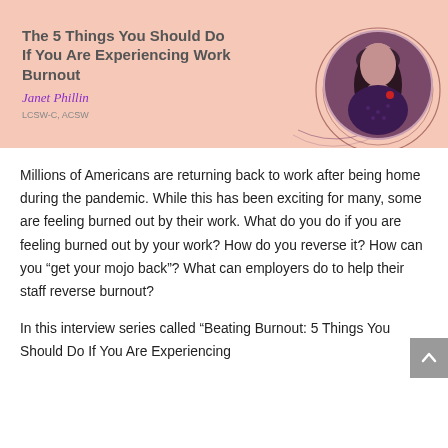[Figure (illustration): Banner image with peach/salmon background showing title text 'The 5 Things You Should Do If You Are Experiencing Work Burnout' on the left, a circular photo of a woman with long dark hair on the right, and the cursive signature 'Janet Phillin LCSW-C, ACSW' below the title.]
Millions of Americans are returning back to work after being home during the pandemic. While this has been exciting for many, some are feeling burned out by their work. What do you do if you are feeling burned out by your work? How do you reverse it? How can you “get your mojo back”? What can employers do to help their staff reverse burnout?
In this interview series called “Beating Burnout: 5 Things You Should Do If You Are Experiencing